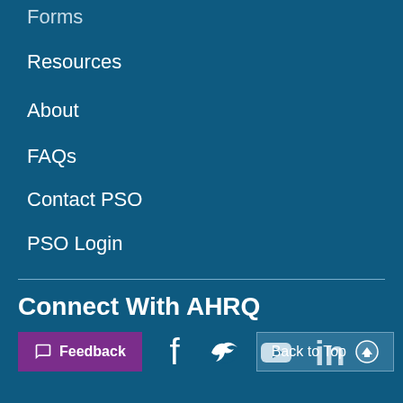Forms
Resources
About
FAQs
Contact PSO
PSO Login
Connect With AHRQ
[Figure (other): Social media icons row: Feedback button (purple), Facebook, Twitter, YouTube, LinkedIn icons, and Back to Top button]